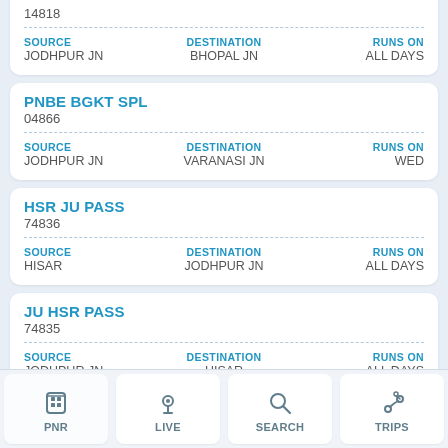14818
SOURCE: JODHPUR JN | DESTINATION: BHOPAL JN | RUNS ON: ALL DAYS
PNBE BGKT SPL
04866
SOURCE: JODHPUR JN | DESTINATION: VARANASI JN | RUNS ON: WED
HSR JU PASS
74836
SOURCE: HISAR | DESTINATION: JODHPUR JN | RUNS ON: ALL DAYS
JU HSR PASS
74835
SOURCE: JODHPUR JN | DESTINATION: HISAR | RUNS ON: ALL DAYS
JU-R... PASSENGER 548...
PNR | LIVE | SEARCH | TRIPS